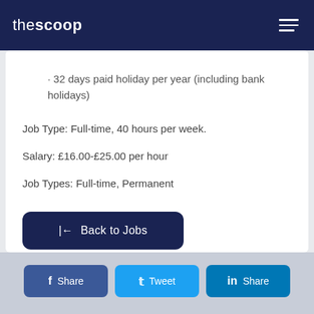thescoop
· 32 days paid holiday per year (including bank holidays)
Job Type: Full-time, 40 hours per week.
Salary: £16.00-£25.00 per hour
Job Types: Full-time, Permanent
← Back to Jobs
Share   Tweet   Share